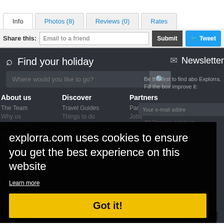Info | Photos (8) | Reviews (0) | Rates
Share this: Email to a friend  Submit  Tweet
Find your holiday
Where would you like to go?
Newsletter
Be the first to find abo Explorra. Fill the box improve it:
Your e-mail addre
*** Promise not to sp
Connect on Face
About us
The Team
Why us
Privacy Policy
Cont...
Discover
Travel Guides
Things to do
Destinations
Travel by Color
Partners
Partnerships
Jobs
explorra.com uses cookies to ensure you get the best experience on this website
Learn more
Got it!
tion and share ed on Explorra